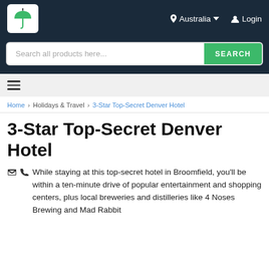[Figure (logo): Green umbrella logo on white rounded square background]
Australia ▾
Login
Search all products here...
SEARCH
≡ (hamburger menu icon)
Home › Holidays & Travel › 3-Star Top-Secret Denver Hotel
3-Star Top-Secret Denver Hotel
While staying at this top-secret hotel in Broomfield, you'll be within a ten-minute drive of popular entertainment and shopping centers, plus local breweries and distilleries like 4 Noses Brewing and Mad Rabbit